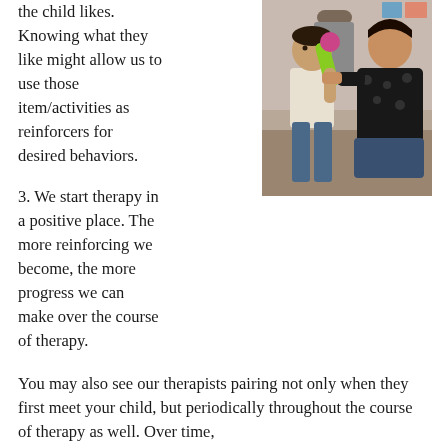the child likes. Knowing what they like might allow us to use those item/activities as reinforcers for desired behaviors.
[Figure (photo): A young child holding a green toy (appearing to be a maraca or similar instrument) while a female therapist in a black floral sweater crouches beside him in a classroom setting.]
3. We start therapy in a positive place. The more reinforcing we become, the more progress we can make over the course of therapy.
You may also see our therapists pairing not only when they first meet your child, but periodically throughout the course of therapy as well. Over time,